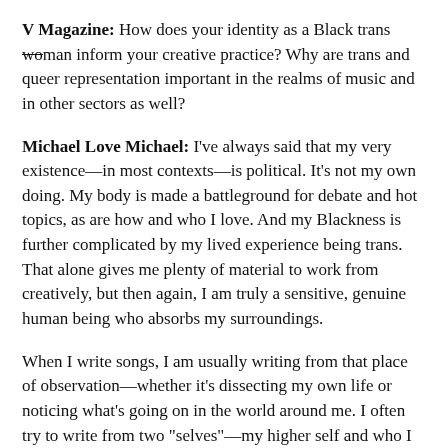V Magazine: How does your identity as a Black trans woman inform your creative practice? Why are trans and queer representation important in the realms of music and in other sectors as well?
Michael Love Michael: I've always said that my very existence—in most contexts—is political. It's not my own doing. My body is made a battleground for debate and hot topics, as are how and who I love. And my Blackness is further complicated by my lived experience being trans. That alone gives me plenty of material to work from creatively, but then again, I am truly a sensitive, genuine human being who absorbs my surroundings.
When I write songs, I am usually writing from that place of observation—whether it's dissecting my own life or noticing what's going on in the world around me. I often try to write from two "selves"—my higher self and who I want to be in the future, and my present self which is right here on the ground trying to get through life and make sense of things that don't always make sense. It's important to have